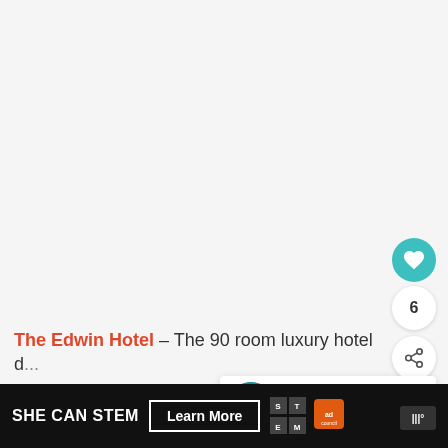[Figure (screenshot): White/light gray empty page area — screenshot of a webpage]
[Figure (infographic): Teal circular like/heart button with heart icon]
6
[Figure (infographic): White circular share button with share icon]
[Figure (screenshot): What's Next panel with thumbnail and text: Family Friendly Gui...]
The Edwin Hotel – The 90 room luxury hotel d...
[Figure (screenshot): SHE CAN STEM advertisement banner with Learn More button, STEM logo, and Ad Council logo]